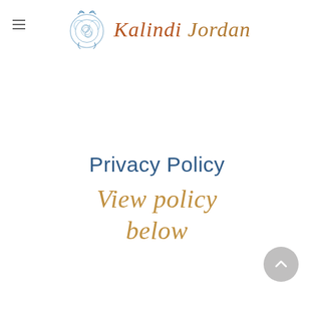[Figure (logo): Kalindi Jordan brand logo with decorative Celtic-style emblem and cursive script text 'Kalindi Jordan' in warm orange-brown tones]
Privacy Policy
View policy below